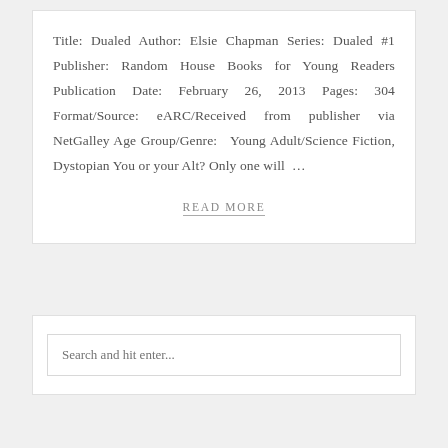Title: Dualed Author: Elsie Chapman Series: Dualed #1 Publisher: Random House Books for Young Readers Publication Date: February 26, 2013 Pages: 304 Format/Source: eARC/Received from publisher via NetGalley Age Group/Genre: Young Adult/Science Fiction, Dystopian You or your Alt? Only one will ...
READ MORE
Search and hit enter...